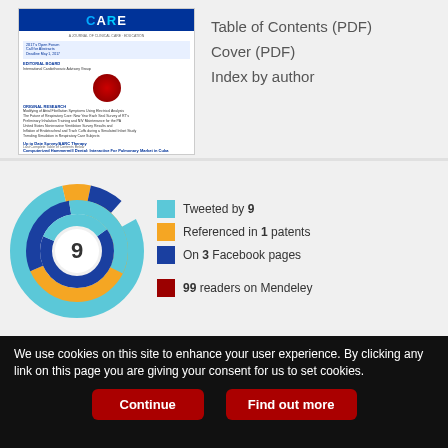[Figure (other): Journal cover thumbnail for CARE medical journal with blue header and table of contents listing]
Table of Contents (PDF)
Cover (PDF)
Index by author
[Figure (donut-chart): Altmetric donut chart showing score of 9. Tweeted by 9 (light blue), Referenced in 1 patents (orange), On 3 Facebook pages (dark blue), 99 readers on Mendeley (dark red)]
Tweeted by 9
Referenced in 1 patents
On 3 Facebook pages
99 readers on Mendeley
We use cookies on this site to enhance your user experience. By clicking any link on this page you are giving your consent for us to set cookies.
Continue
Find out more